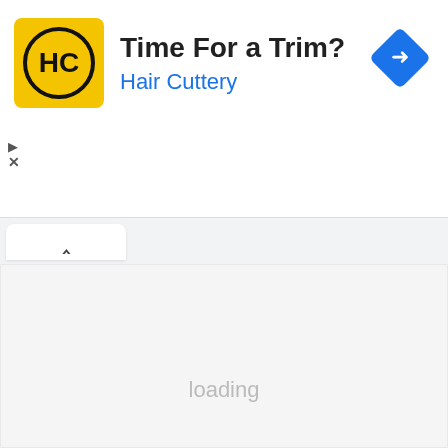[Figure (screenshot): Hair Cuttery advertisement banner with yellow square logo containing HC initials, bold text 'Time For a Trim?' and blue text 'Hair Cuttery', with a blue navigation diamond icon in the top right corner.]
Time For a Trim?
Hair Cuttery
[Figure (screenshot): Browser tab bar showing an upward chevron tab button on white background with rounded top corners]
loading